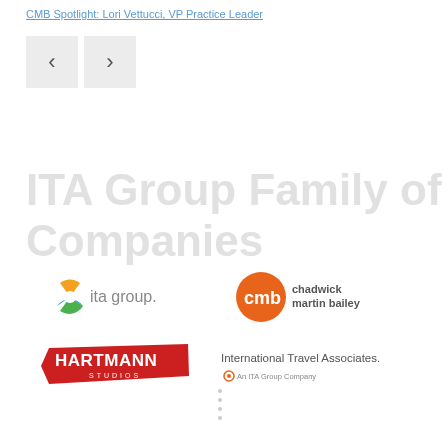CMB Spotlight: Lori Vettucci, VP Practice Leader
[Figure (screenshot): Navigation previous and next buttons (< and >) for a slideshow or carousel]
ITA Group Family of Companies
[Figure (logo): ita group. logo with circular multicolor icon]
[Figure (logo): cmb chadwick martin bailey logo with orange circle]
[Figure (logo): HARTMANN Studios logo in red]
[Figure (logo): International Travel Associates. An ITA Group Company logo]